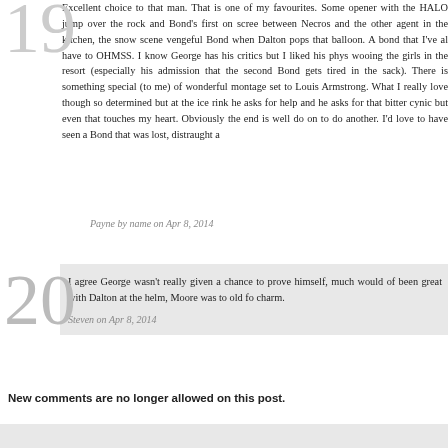Excellent choice to that man. That is one of my favourites. Some opener with the HALO jump over the rock and Bond's first on screen between Necros and the other agent in the kitchen, the snow scene vengeful Bond when Dalton pops that balloon. A bond that I've al have to OHMSS. I know George has his critics but I liked his phys wooing the girls in the resort (especially his admission that the second Bond gets tired in the sack). There is something special (to me) of wonderful montage set to Louis Armstrong. What I really love though so determined but at the ice rink he asks for help and he asks for that bitter cynic but even that touches my heart. Obviously the end is well do on to do another. I'd love to have seen a Bond that was lost, distraught a
Payne by name on Apr 8, 2014
I agree George wasn't really given a chance to prove himself, much would of been great with Dalton at the helm, Moore was to old fo charm.
Steven on Apr 8, 2014
New comments are no longer allowed on this post.